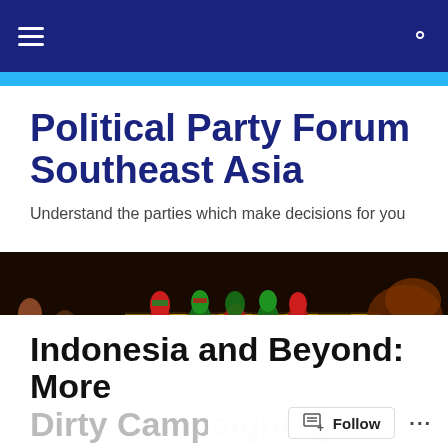Political Party Forum Southeast Asia
Political Party Forum Southeast Asia
Understand the parties which make decisions for you
[Figure (photo): Close-up photograph of colorful decorative chess pieces on a chess board with red, green and gold painted figurines]
Indonesia and Beyond: More Dirty Campaigning to C…